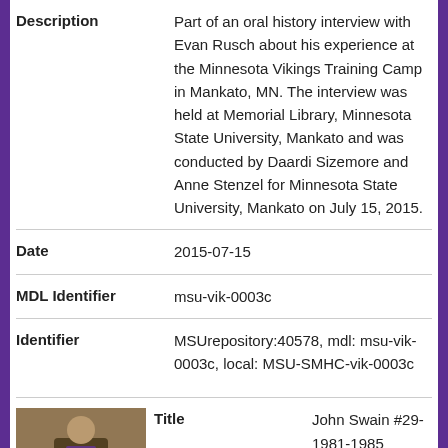| Field | Value |
| --- | --- |
| Description | Part of an oral history interview with Evan Rusch about his experience at the Minnesota Vikings Training Camp in Mankato, MN. The interview was held at Memorial Library, Minnesota State University, Mankato and was conducted by Daardi Sizemore and Anne Stenzel for Minnesota State University, Mankato on July 15, 2015. |
| Date | 2015-07-15 |
| MDL Identifier | msu-vik-0003c |
| Identifier | MSUrepository:40578, mdl: msu-vik-0003c, local: MSU-SMHC-vik-0003c |
[Figure (photo): Thumbnail photo of a person in Minnesota Vikings gear]
| Field | Value |
| --- | --- |
| Title | John Swain #29- 1981-1985 Defensive Back Minnesota Vikings - Training Camp stories at Mankato State |